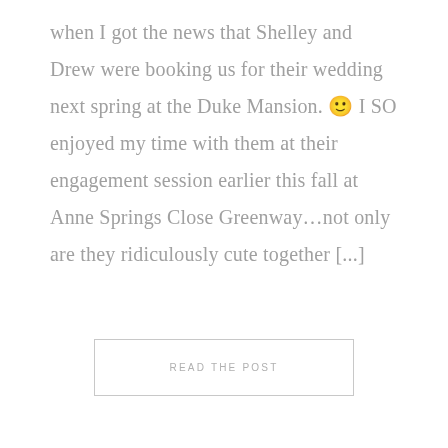when I got the news that Shelley and Drew were booking us for their wedding next spring at the Duke Mansion. 🙂 I SO enjoyed my time with them at their engagement session earlier this fall at Anne Springs Close Greenway…not only are they ridiculously cute together [...]
READ THE POST